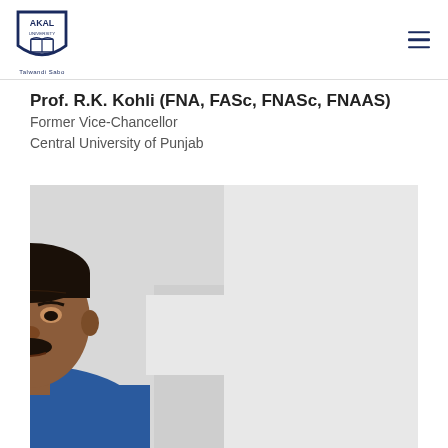Akal University - Talwandi Sabo
Prof. R.K. Kohli (FNA, FASc, FNASc, FNAAS)
Former Vice-Chancellor
Central University of Punjab
[Figure (photo): Portrait photo of Prof. R.K. Kohli, a middle-aged man with dark hair and mustache, wearing a blue shirt, seated in front of a white background with wooden furniture visible on sides.]